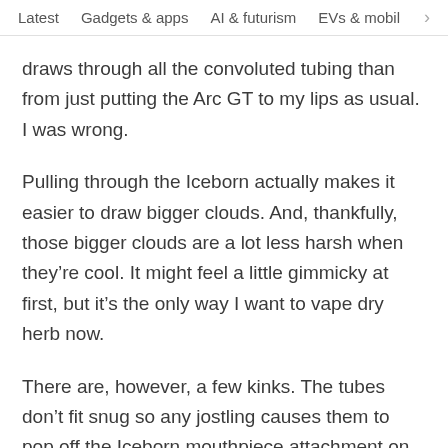Latest   Gadgets & apps   AI & futurism   EVs & mobil  >
draws through all the convoluted tubing than from just putting the Arc GT to my lips as usual. I was wrong.
Pulling through the Iceborn actually makes it easier to draw bigger clouds. And, thankfully, those bigger clouds are a lot less harsh when they’re cool. It might feel a little gimmicky at first, but it’s the only way I want to vape dry herb now.
There are, however, a few kinks. The tubes don’t fit snug so any jostling causes them to pop off the Iceborn mouthpiece attachment on the vape. Another problem is that you need some space to use the vape and Iceborn. I had to set them both on